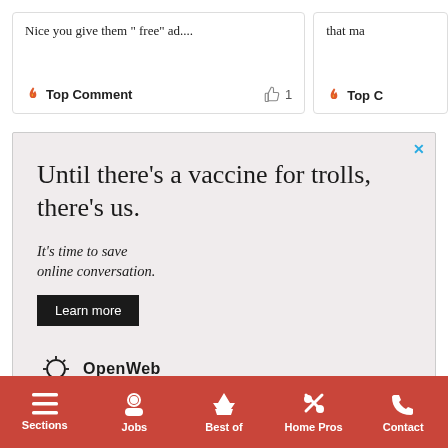Nice you give them " free" ad....
Top Comment  👍 1
that ma...
Top C...
[Figure (other): Advertisement banner for OpenWeb. Headline: 'Until there's a vaccine for trolls, there's us.' Subtext: 'It's time to save online conversation.' Button: 'Learn more'. Logo: OpenWeb with sunburst icon.]
AdChoices ▷   Sponsored
Sections
Jobs
Best of
Home Pros
Contact